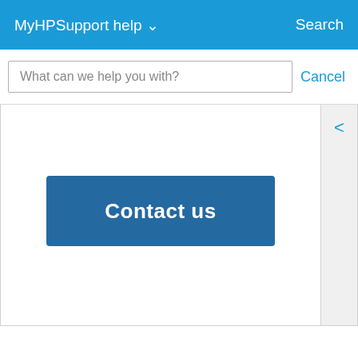MyHPSupport help  Search
What can we help you with?
Cancel
[Figure (screenshot): Contact us button on HP Support web page, with a blue background and white bold text reading 'Contact us'. A back arrow '<' appears on the right side panel.]
Country/Region:  Indonesia ▲